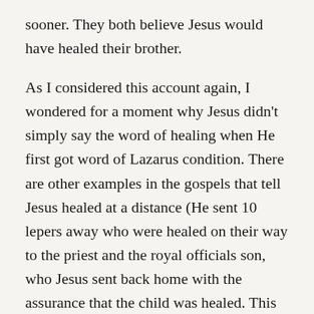sooner. They both believe Jesus would have healed their brother.
As I considered this account again, I wondered for a moment why Jesus didn't simply say the word of healing when He first got word of Lazarus condition. There are other examples in the gospels that tell Jesus healed at a distance (He sent 10 lepers away who were healed on their way to the priest and the royal officials son, who Jesus sent back home with the assurance that the child was healed. This official found out upon arriving home that his son was healed at the very same time he had spoken to Jesus the day before. These are just two examples of this kind of healing received from Jesus).